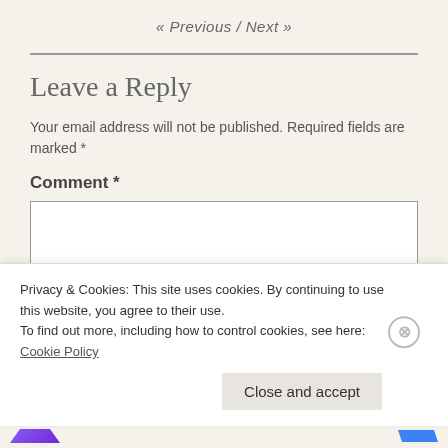« Previous / Next »
Leave a Reply
Your email address will not be published. Required fields are marked *
Comment *
Privacy & Cookies: This site uses cookies. By continuing to use this website, you agree to their use.
To find out more, including how to control cookies, see here: Cookie Policy